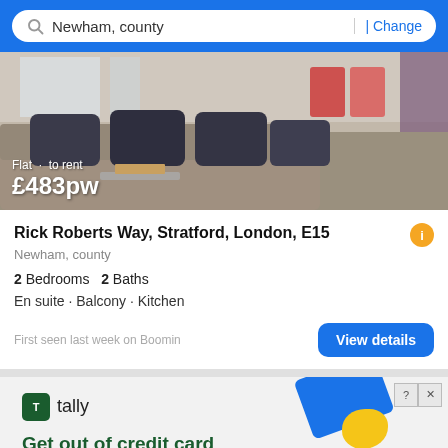Newham, county | Change
[Figure (photo): Interior photo of a living room with a large grey sofa, dark cushions, glass coffee table, and windows with red chairs in background. Overlay text shows 'Flat · to rent £483pw']
Rick Roberts Way, Stratford, London, E15
Newham, county
2 Bedrooms  2 Baths
En suite · Balcony · Kitchen
First seen last week on Boomin
[Figure (screenshot): Advertisement for Tally credit card debt app. Shows Tally logo, text 'Get out of credit card debt faster with Tally', with decorative blue and yellow graphic shapes, a Filter button overlay, and an orange up-arrow circle button.]